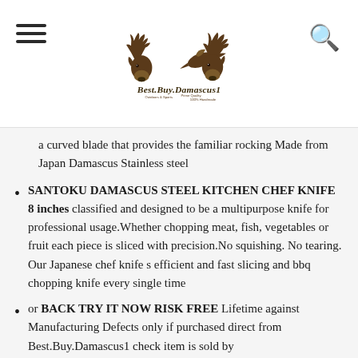[Figure (logo): Best.Buy.Damascus1 logo with deer/antler illustration and text 'Prime Quality Outdoors & Sports 100% Handmade']
a curved blade that provides the familiar rocking Made from Japan Damascus Stainless steel
SANTOKU DAMASCUS STEEL KITCHEN CHEF KNIFE 8 inches classified and designed to be a multipurpose knife for professional usage.Whether chopping meat, fish, vegetables or fruit each piece is sliced with precision.No squishing. No tearing. Our Japanese chef knife s efficient and fast slicing and bbq chopping knife every single time
or BACK TRY IT NOW RISK FREE Lifetime against Manufacturing Defects only if purchased direct from Best.Buy.Damascus1 check item is sold by
Best.Buy.Damascus1 Our Damascus Stainless Steel...